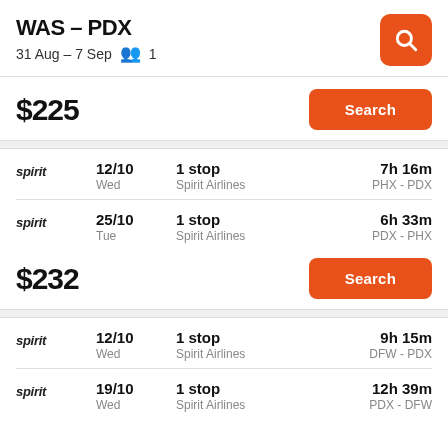WAS – PDX
31 Aug – 7 Sep   1
$225
Search
| Airline | Date | Stops | Duration |
| --- | --- | --- | --- |
| spirit | 12/10 Wed | 1 stop Spirit Airlines | 7h 16m PHX - PDX |
| spirit | 25/10 Tue | 1 stop Spirit Airlines | 6h 33m PDX - PHX |
$232
Search
| Airline | Date | Stops | Duration |
| --- | --- | --- | --- |
| spirit | 12/10 Wed | 1 stop Spirit Airlines | 9h 15m DFW - PDX |
| spirit | 19/10 Wed | 1 stop Spirit Airlines | 12h 39m PDX - DFW |